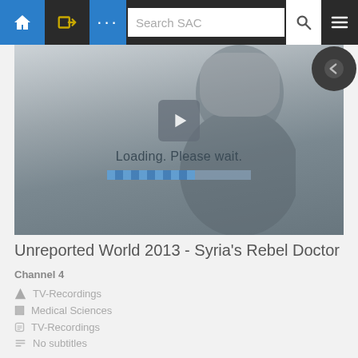Search SAC
[Figure (screenshot): Video player showing a man in a grey beanie hat with 'Loading. Please wait.' text and progress bar overlay]
Unreported World 2013 - Syria's Rebel Doctor
Channel 4
TV-Recordings
Medical Sciences
TV-Recordings
No subtitles